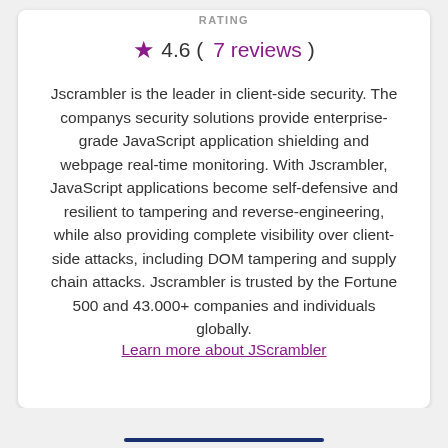RATING
★ 4.6 ( 7 reviews )
Jscrambler is the leader in client-side security. The companys security solutions provide enterprise-grade JavaScript application shielding and webpage real-time monitoring. With Jscrambler, JavaScript applications become self-defensive and resilient to tampering and reverse-engineering, while also providing complete visibility over client-side attacks, including DOM tampering and supply chain attacks. Jscrambler is trusted by the Fortune 500 and 43.000+ companies and individuals globally.
Learn more about JScrambler